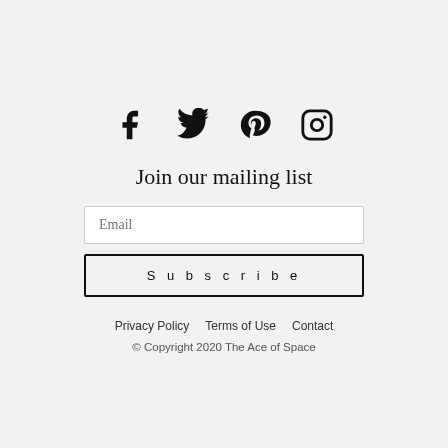[Figure (other): Social media icons: Facebook, Twitter, Pinterest, Instagram]
Join our mailing list
Email
Subscribe
Privacy Policy   Terms of Use   Contact
© Copyright 2020 The Ace of Space